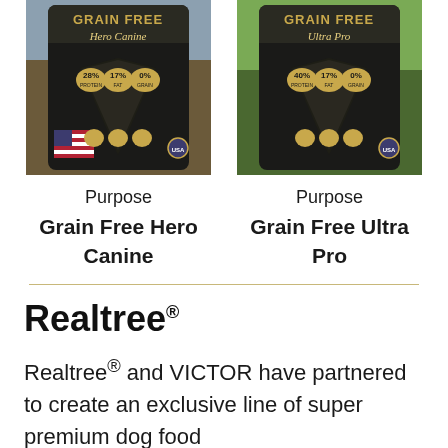[Figure (photo): Product bag for Purpose Grain Free Hero Canine dog food with American flag imagery and outdoor background]
[Figure (photo): Product bag for Purpose Grain Free Ultra Pro dog food with outdoor green grass background]
Purpose
Grain Free Hero Canine
Purpose
Grain Free Ultra Pro
Realtree®
Realtree® and VICTOR have partnered to create an exclusive line of super premium dog food